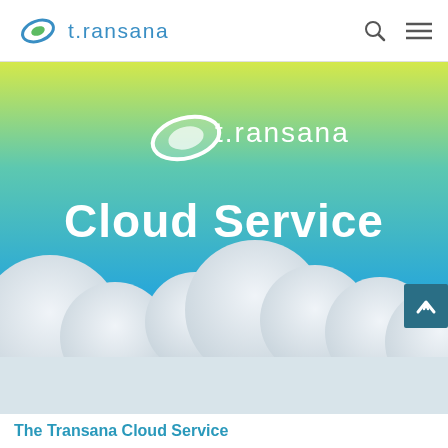transana (navigation bar with search and menu icons)
[Figure (illustration): Transana Cloud Service hero banner with gradient background (yellow-green to blue), Transana logo in white, large 'Cloud Service' title in white bold text, illustrated clouds at the bottom, and a scroll-up button on the right side]
The Transana Cloud Service